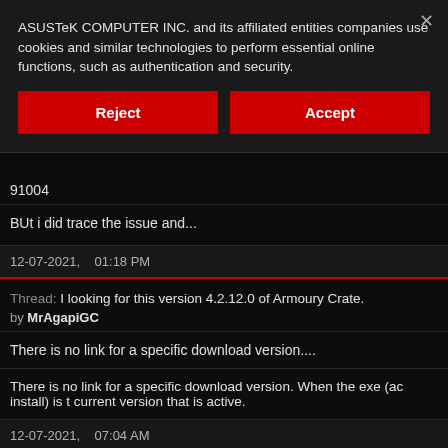ASUSTeK COMPUTER INC. and its affiliated entities companies use cookies and similar technologies to perform essential online functions, such as authentication and security.
Reject
Accept
91004
BUt i did trace the issue and...
12-07-2021,    01:18 PM
Thread: I looking for this version 4.2.12.0 of Armoury Crate.
by MrAgapiGC
There is no link for a specific download version....
There is no link for a specific download version. When the exe (ac install) is t current version that is active.
12-07-2021,    07:04 AM